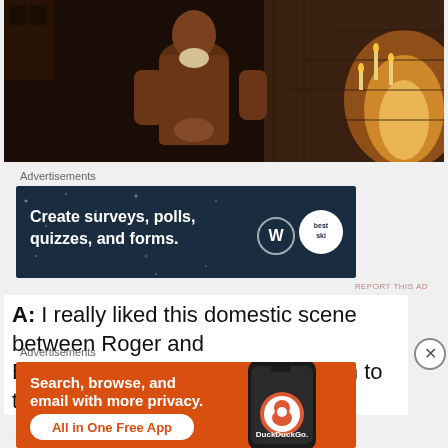[Figure (screenshot): Dark medieval scene showing a person in brown historical clothing standing near a stone fireplace with fire visible on the right side]
Advertisements
[Figure (other): Advertisement banner: dark navy background with text 'Create surveys, polls, quizzes, and forms.' with WordPress and BestSki logos]
REPORT THIS AD
A: I really liked this domestic scene between Roger and Bree. I am really beginning to warm to them as a couple.
Advertisements
[Figure (other): DuckDuckGo advertisement: orange background with text 'Search, browse, and email with more privacy. All in One Free App' with phone mockup showing DuckDuckGo logo]